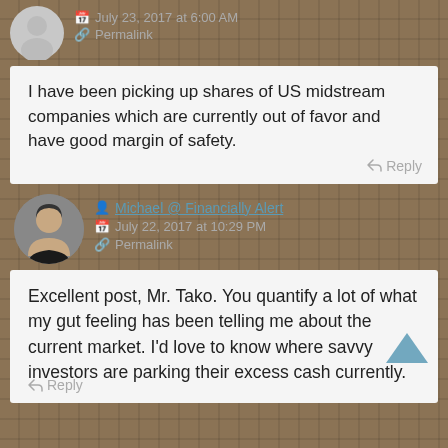July 23, 2017 at 6:00 AM
Permalink
I have been picking up shares of US midstream companies which are currently out of favor and have good margin of safety.
Reply
Michael @ Financially Alert
July 22, 2017 at 10:29 PM
Permalink
Excellent post, Mr. Tako. You quantify a lot of what my gut feeling has been telling me about the current market. I’d love to know where savvy investors are parking their excess cash currently.
Reply